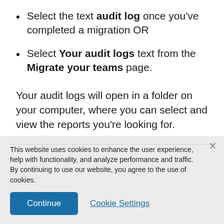Select the text audit log once you've completed a migration OR
Select Your audit logs text from the Migrate your teams page.
Your audit logs will open in a folder on your computer, where you can select and view the reports you're looking for.
This website uses cookies to enhance the user experience, help with functionality, and analyze performance and traffic. By continuing to use our website, you agree to the use of cookies.